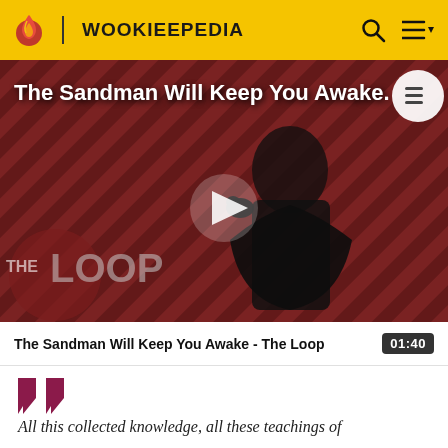WOOKIEEPEDIA
[Figure (screenshot): Video thumbnail for 'The Sandman Will Keep You Awake - The Loop' showing a dark-cloaked figure against a red diagonal striped background with 'THE LOOP' branding and a play button overlay]
The Sandman Will Keep You Awake - The Loop  01:40
All this collected knowledge, all these teachings of